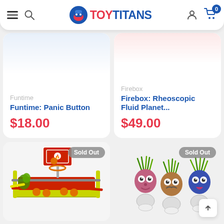TOY TITANS
Funtime
Funtime: Panic Button
$18.00
Firebox
Firebox: Rheoscopic Fluid Planet...
$49.00
[Figure (photo): Basketball toy shooting game with orange balls and yellow-green frame, Sold Out]
[Figure (photo): Three grass-head plant pot figures with large eyes and green grass hair, Sold Out]